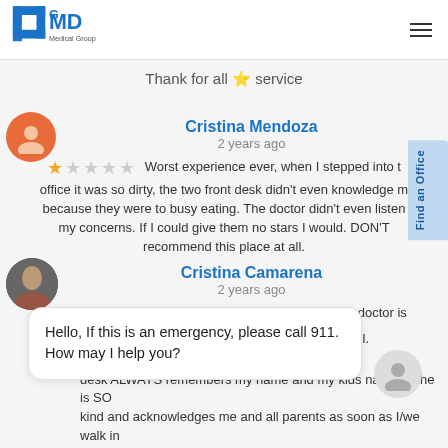[Figure (logo): GMD Medical Group logo - blue cross/plus icon with GMD letters and 'Medical Group' text]
Thank for all 🌟 service
Cristina Mendoza
2 years ago
★☆☆☆☆ Worst experience ever, when I stepped into the office it was so dirty, the two front desk didn't even knowledge me because they were to busy eating. The doctor didn't even listen to my concerns. If I could give them no stars I would. DON'T recommend this place at all.
Cristina Camarena
2 years ago
★★★★★ Was assisted in a timely manner. The doctor is very professional and attentive. The staff is he×l.
Hello, If this is an emergency, please call 911. How may I help you?
desk ALWAYS remembers my name and my kids names. She is SO kind and acknowledges me and all parents as soon as I/we walk in